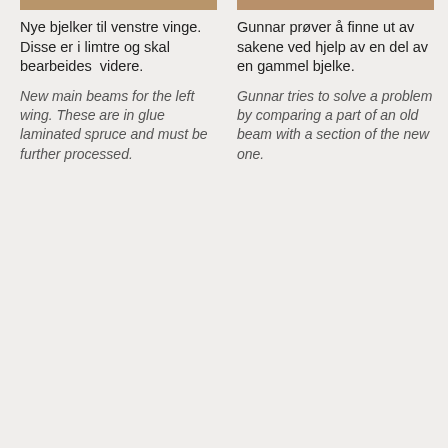[Figure (photo): Cropped photo of new glue laminated beams for the left wing, partial view at top of left column]
Nye bjelker til venstre vinge. Disse er i limtre og skal bearbeides videre.

New main beams for the left wing. These are in glue laminated spruce and must be further processed.
[Figure (photo): Cropped photo of Gunnar comparing old and new beam sections, partial view at top of right column]
Gunnar prøver å finne ut av sakene ved hjelp av en del av en gammel bjelke.

Gunnar tries to solve a problem by comparing a part of an old beam with a section of the new one.